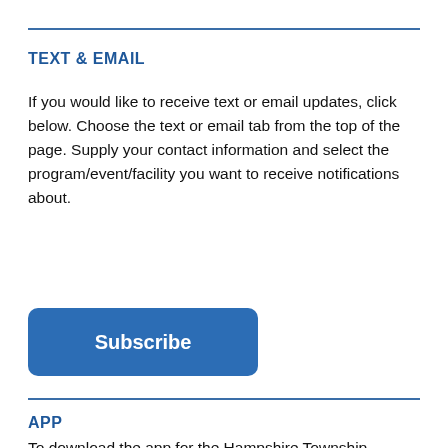TEXT & EMAIL
If you would like to receive text or email updates, click below. Choose the text or email tab from the top of the page. Supply your contact information and select the program/event/facility you want to receive notifications about.
[Figure (other): A blue rounded rectangle button labeled 'Subscribe']
APP
To download the app for the Hampshire Township